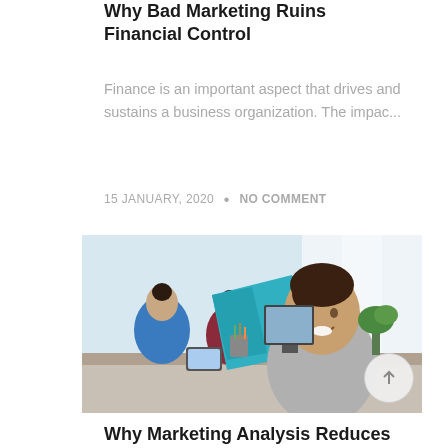Why Bad Marketing Ruins Financial Control
Finance is an important aspect that drives and sustains a business organization. The impac...
15 JANUARY, 2020 • NO COMMENT
[Figure (photo): A smiling young man in a grey t-shirt holding a blue folder in an office setting, with colleagues in the background.]
Why Marketing Analysis Reduces Your Financial Budget